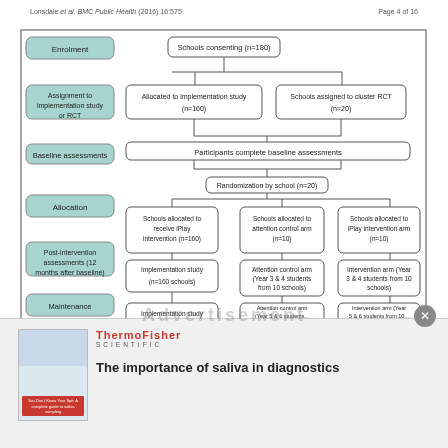Lonsdale et al. BMC Public Health (2016) 16:575    Page 4 of 16
[Figure (flowchart): CONSORT-style flowchart showing enrolment, assignment, baseline assessments, allocation, post-intervention assessments, and maintenance stages for schools study. Schools consenting (n=180) split into Allocated to implementation study (n=160) and Schools assigned to cluster RCT (n=20). Participants complete baseline assessments. Randomization by school (n=20). Three allocation arms: Schools allocated to receive iPlay intervention (n=160), Schools allocated to attention control arm (n=10), Schools allocated to iPlay intervention arm (n=10). Implementation study (n=160 schools), Attention control arm (Year 3 & 4 students from 10 schools), Intervention arm (Year 3 & 4 students from 10 schools). Implementation study and additional arms at maintenance stage.]